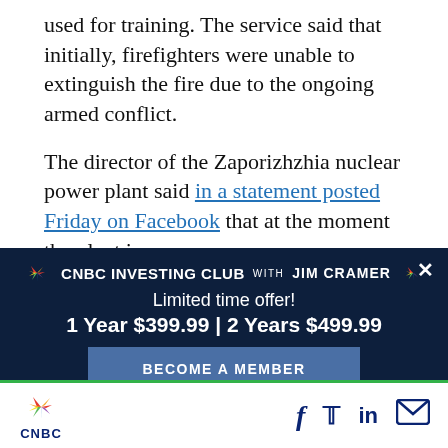used for training. The service said that initially, firefighters were unable to extinguish the fire due to the ongoing armed conflict.
The director of the Zaporizhzhia nuclear power plant said in a statement posted Friday on Facebook that at the moment the plant is secure.
— Amanda Macias
[Figure (infographic): CNBC Investing Club with Jim Cramer advertisement banner. Dark navy background. Limited time offer! 1 Year $399.99 | 2 Years $499.99. BECOME A MEMBER button.]
CNBC logo with social media icons: Facebook, Twitter, LinkedIn, Email